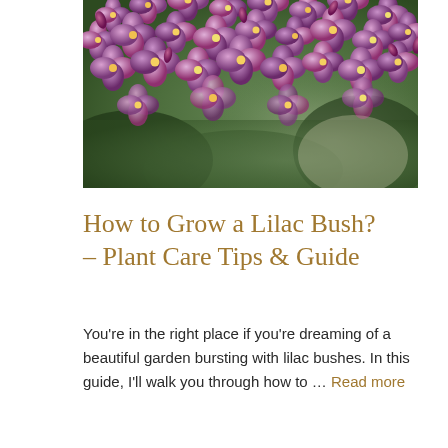[Figure (photo): Close-up photograph of purple lilac flowers with blurred green background]
How to Grow a Lilac Bush? – Plant Care Tips & Guide
You're in the right place if you're dreaming of a beautiful garden bursting with lilac bushes. In this guide, I'll walk you through how to … Read more